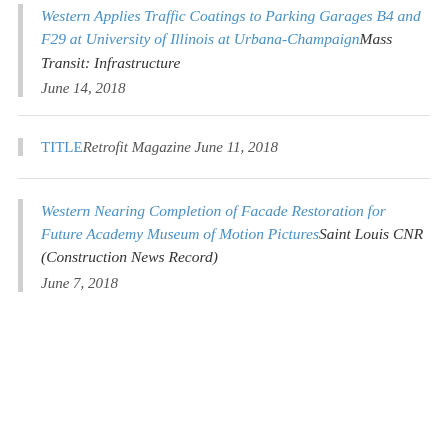Western Applies Traffic Coatings to Parking Garages B4 and F29 at University of Illinois at Urbana-ChampaignMass Transit: Infrastructure
June 14, 2018
TITLERetrofit Magazine June 11, 2018
Western Nearing Completion of Facade Restoration for Future Academy Museum of Motion PicturesSaint Louis CNR (Construction News Record) June 7, 2018